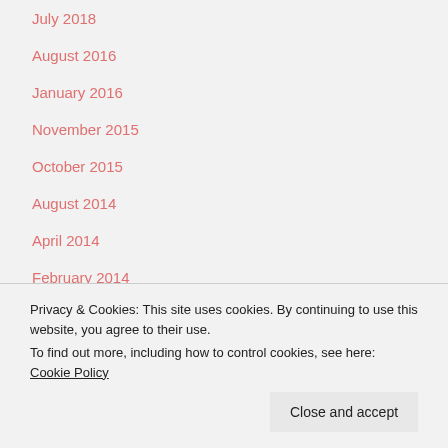July 2018
August 2016
January 2016
November 2015
October 2015
August 2014
April 2014
February 2014
January 2014
December 2013
November 2013
Privacy & Cookies: This site uses cookies. By continuing to use this website, you agree to their use.
To find out more, including how to control cookies, see here: Cookie Policy
Close and accept